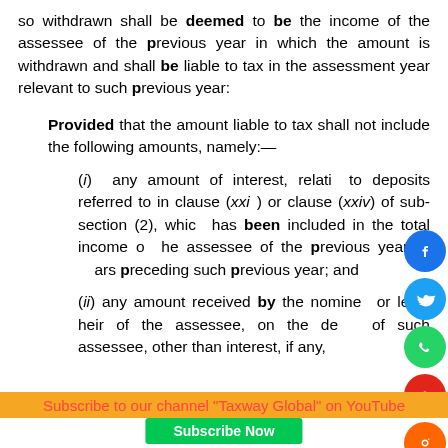so withdrawn shall be deemed to be the income of the assessee of the previous year in which the amount is withdrawn and shall be liable to tax in the assessment year relevant to such previous year:
Provided that the amount liable to tax shall not include the following amounts, namely:—
(i) any amount of interest, relating to deposits referred to in clause (xxiii) or clause (xxiv) of sub-section (2), which has been included in the total income of the assessee of the previous year or years preceding such previous year; and
(ii) any amount received by the nominee or legal heir of the assessee, on the death of such assessee, other than interest, if any,
Subscribe to our channel "Taxway Global" on YouTube
Subscribe Now